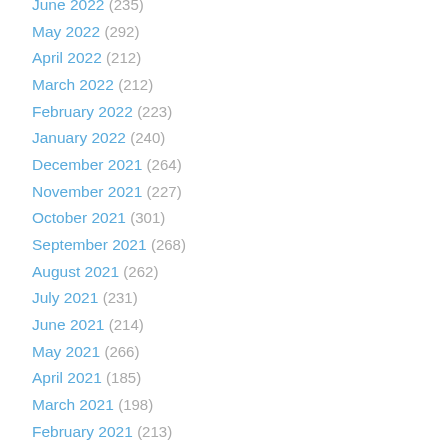June 2022 (235)
May 2022 (292)
April 2022 (212)
March 2022 (212)
February 2022 (223)
January 2022 (240)
December 2021 (264)
November 2021 (227)
October 2021 (301)
September 2021 (268)
August 2021 (262)
July 2021 (231)
June 2021 (214)
May 2021 (266)
April 2021 (185)
March 2021 (198)
February 2021 (213)
January 2021 (276)
December 2020 (263)
November 2020 (231)